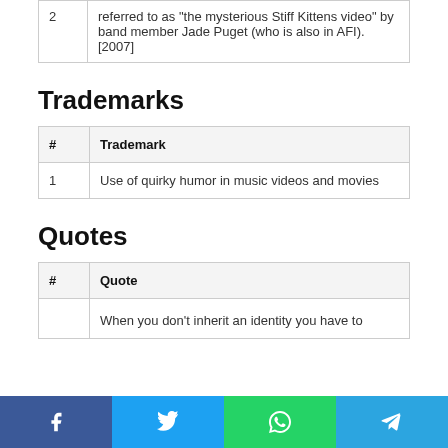2  referred to as "the mysterious Stiff Kittens video" by band member Jade Puget (who is also in AFI). [2007]
Trademarks
| # | Trademark |
| --- | --- |
| 1 | Use of quirky humor in music videos and movies |
Quotes
| # | Quote |
| --- | --- |
|  | When you don't inherit an identity you have to |
f  t  (whatsapp)  (telegram)